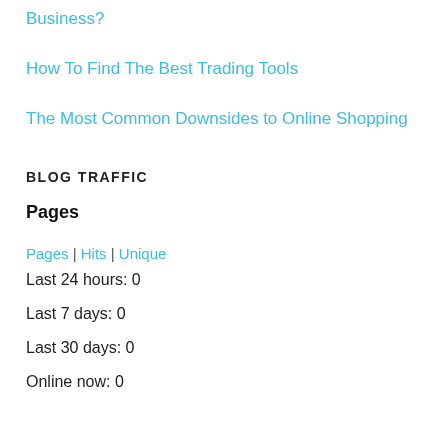Business?
How To Find The Best Trading Tools
The Most Common Downsides to Online Shopping
BLOG TRAFFIC
Pages
Pages | Hits | Unique
Last 24 hours: 0
Last 7 days: 0
Last 30 days: 0
Online now: 0